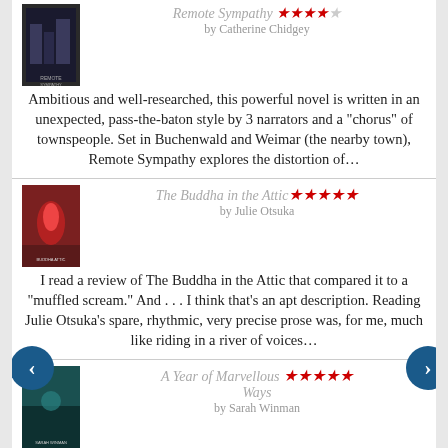[Figure (illustration): Book cover for Remote Sympathy by Catherine Chidgey — dark urban buildings cover]
Remote Sympathy ★★★★☆ by Catherine Chidgey
Ambitious and well-researched, this powerful novel is written in an unexpected, pass-the-baton style by 3 narrators and a "chorus" of townspeople. Set in Buchenwald and Weimar (the nearby town), Remote Sympathy explores the distortion of...
[Figure (illustration): Book cover for The Buddha in the Attic by Julie Otsuka — red figure on cover]
The Buddha in the Attic ★★★★★ by Julie Otsuka
I read a review of The Buddha in the Attic that compared it to a "muffled scream." And . . . I think that's an apt description. Reading Julie Otsuka's spare, rhythmic, very precise prose was, for me, much like riding in a river of voices...
[Figure (illustration): Book cover for A Year of Marvellous Ways by Sarah Winman — teal/dark cover]
A Year of Marvellous Ways ★★★★★ by Sarah Winman
(4.5 stars, rounded up to 5)
Coming back from the dead is not quite...